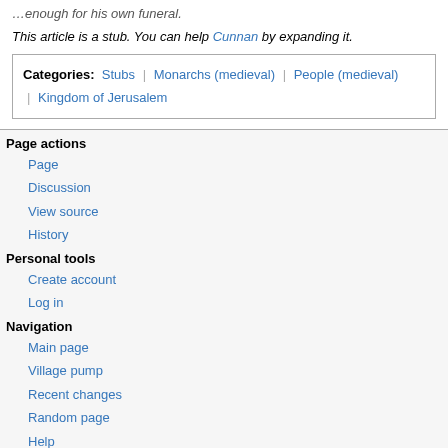...enough for his own funeral.
This article is a stub. You can help Cunnan by expanding it.
Categories: Stubs | Monarchs (medieval) | People (medieval) | Kingdom of Jerusalem
Page actions
Page
Discussion
View source
History
Personal tools
Create account
Log in
Navigation
Main page
Village pump
Recent changes
Random page
Help
Tools
What links here
Related changes
Special pages